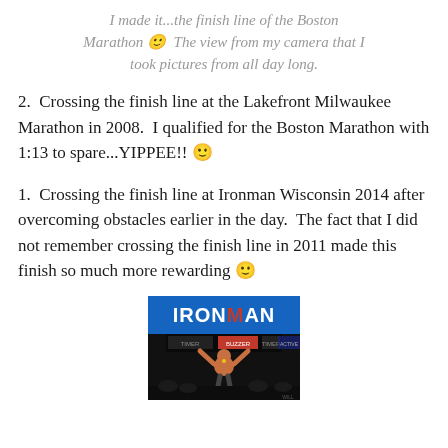I made it...the finish line of the Boston Marathon 🙂  The view from my camera that I took pictures from all day long.
2.  Crossing the finish line at the Lakefront Milwaukee Marathon in 2008.  I qualified for the Boston Marathon with 1:13 to spare...YIPPEE!! 🙂
1.  Crossing the finish line at Ironman Wisconsin 2014 after overcoming obstacles earlier in the day.  The fact that I did not remember crossing the finish line in 2011 made this finish so much more rewarding 🙂
[Figure (photo): Photo of a person crossing the finish line at an Ironman event, with the IRONMAN sign visible overhead and the person raising their arms in celebration.]